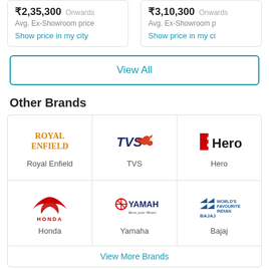₹2,35,300 Onwards Avg. Ex-Showroom price | Show price in my city
₹3,10,300 Onwards Avg. Ex-Showroom price | Show price in my city
View All
Other Brands
[Figure (logo): Royal Enfield logo grid with TVS, Hero, Honda, Yamaha, Bajaj brand logos]
View More Brands